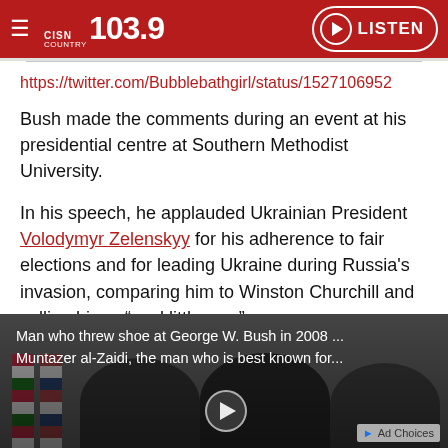CISN Country 103.9 | LISTEN
https://twitter.com/Bubblebathgirl/status/1527106952
Bush made the comments during an event at his presidential centre at Southern Methodist University.
In his speech, he applauded Ukrainian President Volodymyr Zelenskyy for his adherence to fair elections and for leading Ukraine during Russia's invasion, comparing him to Winston Churchill and calling him a “cool little guy.”
[Figure (screenshot): Video thumbnail showing two men in suits with flags in the background, with caption: Man who threw shoe at George W. Bush in 2008 ... Muntazer al-Zaidi, the man who is best known for...]